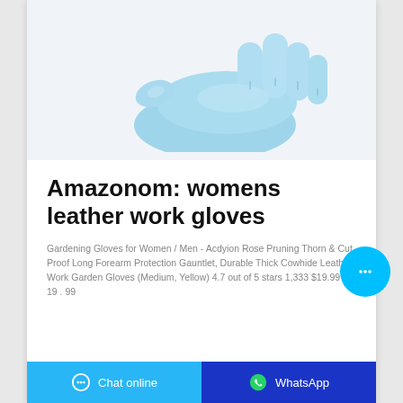[Figure (photo): Light blue nitrile/rubber glove on white background, photographed from above showing the palm side with fingers spread slightly.]
Amazonom: womens leather work gloves
Gardening Gloves for Women / Men - Acdyion Rose Pruning Thorn & Cut Proof Long Forearm Protection Gauntlet, Durable Thick Cowhide Leather Work Garden Gloves (Medium, Yellow) 4.7 out of 5 stars 1,333 $19.99 $ 19 . 99